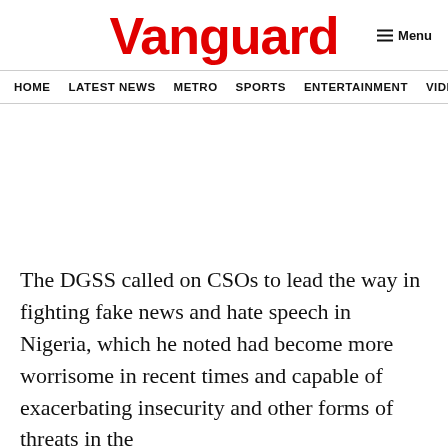Vanguard
HOME  LATEST NEWS  METRO  SPORTS  ENTERTAINMENT  VIDEOS
The DGSS called on CSOs to lead the way in fighting fake news and hate speech in Nigeria, which he noted had become more worrisome in recent times and capable of exacerbating insecurity and other forms of threats in the